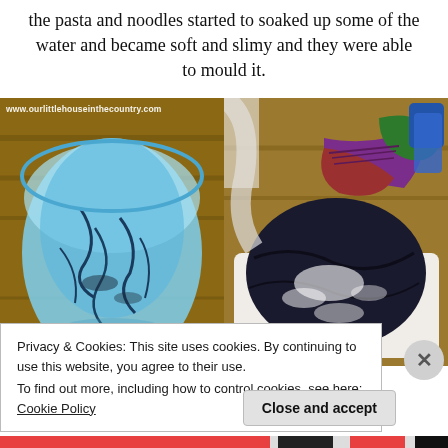the pasta and noodles started to soaked up some of the water and became soft and slimy and they were able to mould it.
[Figure (photo): Two photos side by side: left shows a blue plastic tub/container filled with water and cooked noodles (blue-tinted water); right shows a pile of fabrics/clothes with flour or powder dusted on them in a white tray. Watermark on left photo reads www.ourlittlehouseinthecountry.com]
Privacy & Cookies: This site uses cookies. By continuing to use this website, you agree to their use.
To find out more, including how to control cookies, see here: Cookie Policy